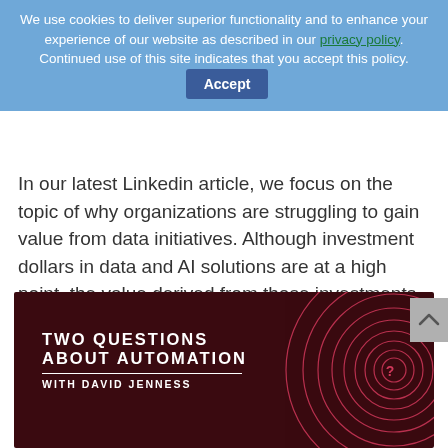We use cookies to deliver superior functionality and to enhance your experience of our website as described in our privacy policy. Continued use of this site indicates that you accept this policy. Accept
In our latest Linkedin article, we focus on the topic of why organizations are struggling to gain value from data initiatives. Although investment dollars in data and AI solutions are at a high point, the value derived from those investments is not following suit. In...
[Figure (illustration): Dark red/maroon background with concentric spiral circle design in pink/red on the right side. White bold text on left reads: TWO QUESTIONS ABOUT AUTOMATION WITH DAVID JENNESS]